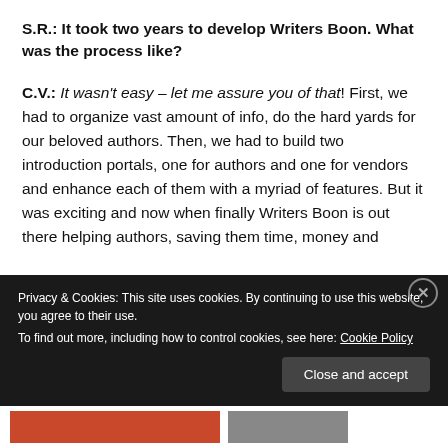S.R.: It took two years to develop Writers Boon. What was the process like?
C.V.: It wasn't easy – let me assure you of that! First, we had to organize vast amount of info, do the hard yards for our beloved authors. Then, we had to build two introduction portals, one for authors and one for vendors and enhance each of them with a myriad of features. But it was exciting and now when finally Writers Boon is out there helping authors, saving them time, money and brainpower, now it becomes rewarding.
Privacy & Cookies: This site uses cookies. By continuing to use this website, you agree to their use. To find out more, including how to control cookies, see here: Cookie Policy